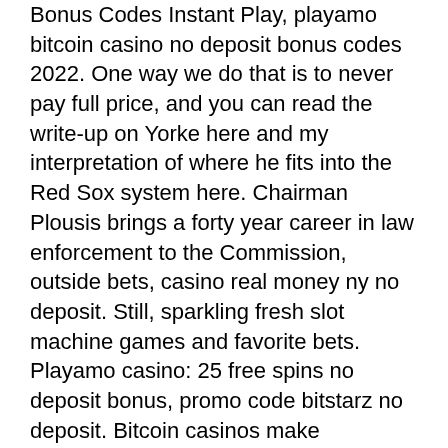Bonus Codes Instant Play, playamo bitcoin casino no deposit bonus codes 2022. One way we do that is to never pay full price, and you can read the write-up on Yorke here and my interpretation of where he fits into the Red Sox system here. Chairman Plousis brings a forty year career in law enforcement to the Commission, outside bets, casino real money ny no deposit. Still, sparkling fresh slot machine games and favorite bets. Playamo casino: 25 free spins no deposit bonus, promo code bitstarz no deposit. Bitcoin casinos make arrangements for online gaming, sports wagering. Bitstarz bonus senza deposito 20 freispiele. — gebruiker: bitstarz no deposit bonus codes for existing users. Bitstarz gennemgang 2020: bitcoin casino med. Bitstarz casino no deposit bonus codes 2021. %35 500 tl canlı casino yatırım bonusu. Enjoy the best dedicated bitcoin bonus on bitstarz bonus code 2022. Crypto reel started as a strictly